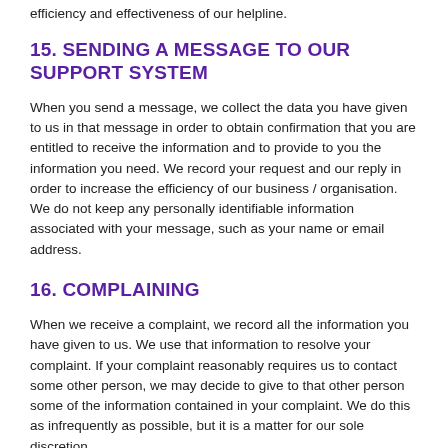efficiency and effectiveness of our helpline.
15. SENDING A MESSAGE TO OUR SUPPORT SYSTEM
When you send a message, we collect the data you have given to us in that message in order to obtain confirmation that you are entitled to receive the information and to provide to you the information you need. We record your request and our reply in order to increase the efficiency of our business / organisation. We do not keep any personally identifiable information associated with your message, such as your name or email address.
16. COMPLAINING
When we receive a complaint, we record all the information you have given to us. We use that information to resolve your complaint. If your complaint reasonably requires us to contact some other person, we may decide to give to that other person some of the information contained in your complaint. We do this as infrequently as possible, but it is a matter for our sole discretion